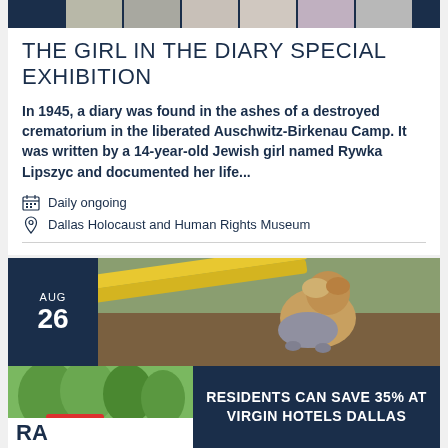[Figure (photo): Horizontal strip of 7 small portrait/figure photos with dark navy background at left]
THE GIRL IN THE DIARY SPECIAL EXHIBITION
In 1945, a diary was found in the ashes of a destroyed crematorium in the liberated Auschwitz-Birkenau Camp. It was written by a 14-year-old Jewish girl named Rywka Lipszyc and documented her life...
Daily ongoing
Dallas Holocaust and Human Rights Museum
[Figure (photo): Event card showing AUG 26 date block in navy and a photo of a small dog wearing clothes outdoors near yellow bench]
[Figure (photo): Advertisement: Residents Can Save 35% at Virgin Hotels Dallas, with Virgin logo and red car photo on the left]